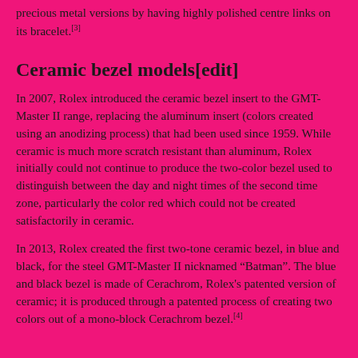precious metal versions by having highly polished centre links on its bracelet.[3]
Ceramic bezel models[edit]
In 2007, Rolex introduced the ceramic bezel insert to the GMT-Master II range, replacing the aluminum insert (colors created using an anodizing process) that had been used since 1959. While ceramic is much more scratch resistant than aluminum, Rolex initially could not continue to produce the two-color bezel used to distinguish between the day and night times of the second time zone, particularly the color red which could not be created satisfactorily in ceramic.
In 2013, Rolex created the first two-tone ceramic bezel, in blue and black, for the steel GMT-Master II nicknamed “Batman”. The blue and black bezel is made of Cerachrom, Rolex's patented version of ceramic; it is produced through a patented process of creating two colors out of a mono-block Cerachrom bezel.[4]